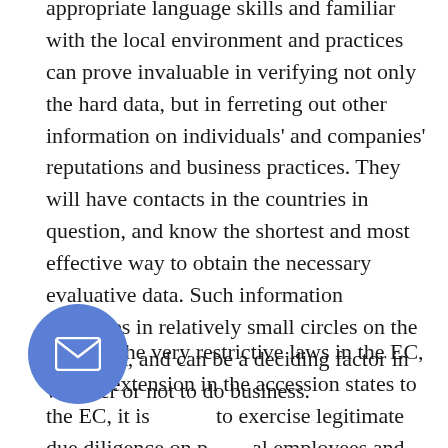appropriate language skills and familiar with the local environment and practices can prove invaluable in verifying not only the hard data, but in ferreting out other information on individuals' and companies' reputations and business practices. They will have contacts in the countries in question, and know the shortest and most effective way to obtain the necessary evaluative data. Such information circulates in relatively small circles on the continent, and can be a deciding factor in whether or not to do business.
Despite the very restrictive laws in the EC, and by extension in the accession states to the EC, it is [possible] to exercise legitimate due diligence on p[otenti]al employees and business partners, and this should be done routinely for all the reasons that we